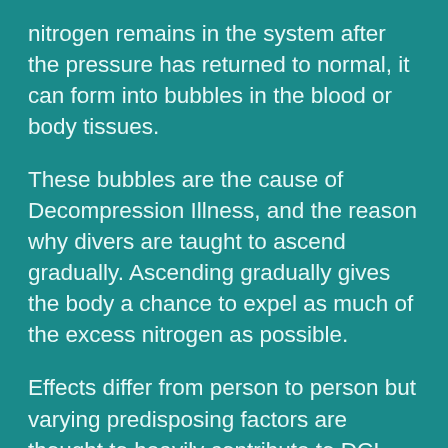nitrogen remains in the system after the pressure has returned to normal, it can form into bubbles in the blood or body tissues.
These bubbles are the cause of Decompression Illness, and the reason why divers are taught to ascend gradually. Ascending gradually gives the body a chance to expel as much of the excess nitrogen as possible.
Effects differ from person to person but varying predisposing factors are thought to heavily contribute to DCI even with correct procedures. Breath